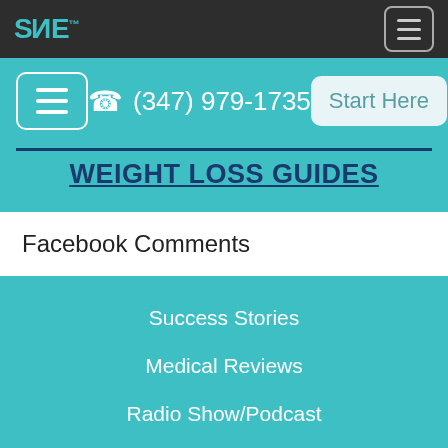SANE™
(347) 979-1735
Start Here
WEIGHT LOSS GUIDES
Facebook Comments
Success Stories
Medical Reviews
Radio Show/Podcast
Blog